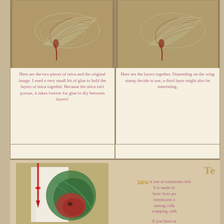[Figure (photo): Photo of mica sheet with stamped wing image on brownish background]
Here are the two pieces of mica and the original image. I used a very small bit of glue to hold the layers of mica together. Because the mica isn't porous, it takes forever for glue to dry between layers!
[Figure (photo): Photo of mica layers together with stamped wing image]
Here are the layers together. Depending on the wing stamp decide to use, a third layer might also be interesting.
[Figure (photo): Photo of a handmade book with decorative paper showing green and red botanical design, with a red ribbon bookmark]
Te
Unryu is one of sometimes refe It is made by basic kozo pu translucent a among colla wrapping, emb
If you have sa